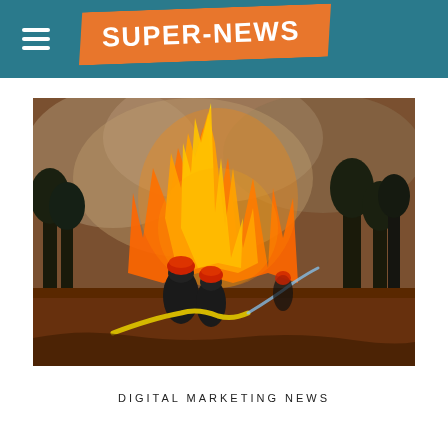SUPER-NEWS
[Figure (photo): Firefighters in red helmets battling a large wildfire, holding a hose against massive flames and smoke in a forest/hillside setting]
DIGITAL MARKETING NEWS